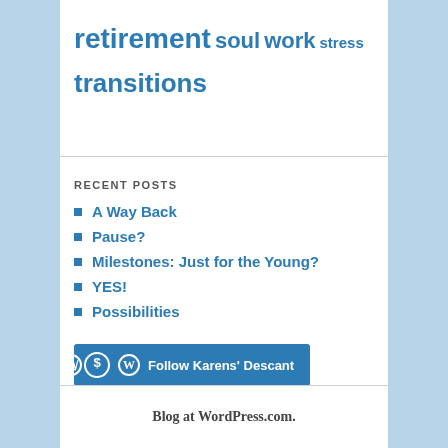[Figure (infographic): Tag cloud with words: retirement (large bold), soul (medium bold), work (medium bold), stress (small bold), transitions (large bold), all in blue]
RECENT POSTS
A Way Back
Pause?
Milestones: Just for the Young?
YES!
Possibilities
[Figure (other): Follow Karens' Descant button with WordPress logo]
Blog at WordPress.com.